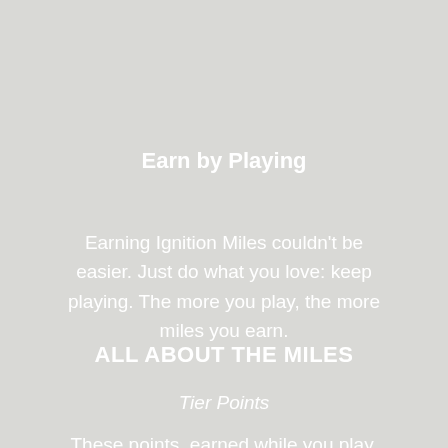Earn by Playing
Earning Ignition Miles couldn't be easier. Just do what you love: keep playing. The more you play, the more miles you earn.
ALL ABOUT THE MILES
Tier Points
These points, earned while you play, let you